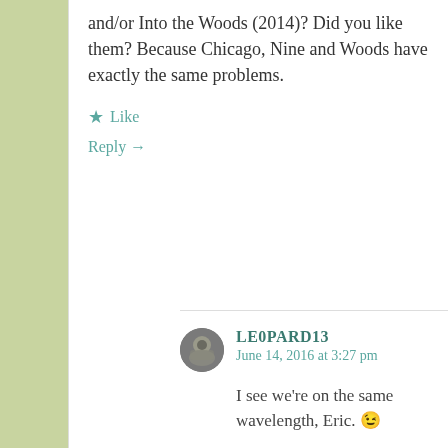and/or Into the Woods (2014)? Did you like them? Because Chicago, Nine and Woods have exactly the same problems.
★ Like
Reply →
[Figure (photo): Round avatar photo of user LEOPARD13]
LEOPARD13
June 14, 2016 at 3:27 pm
I see we're on the same wavelength, Eric. 😉
★ Liked by 1 person